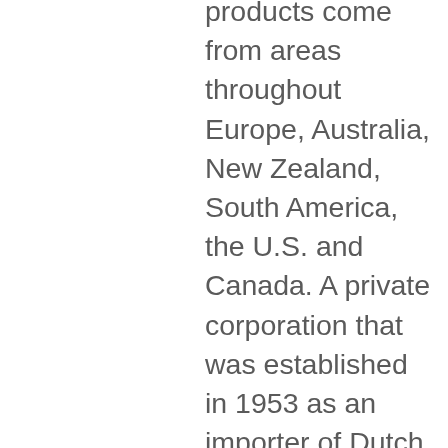products come from areas throughout Europe, Australia, New Zealand, South America, the U.S. and Canada. A private corporation that was established in 1953 as an importer of Dutch products. Today, we proudly produce products for our own heritage brands: EMMA®, Milano®, Casa Italia®, Piaceri D'italia®, Duero®, Cortina®, Cedarvalle® and Oak Manor® in our local and international production facilities. We also represent many other brands